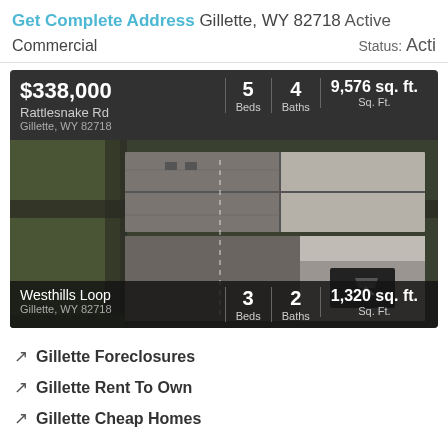Get Complete Address Gillette, WY 82718 Active Commercial Status: Acti
[Figure (photo): Real estate listing card showing $338,000 property on Rattlesnake Rd, Gillette WY 82718, 5 Beds, 4 Baths, 9,576 sq. ft., followed by aerial satellite view of property rooftop, and a second listing for Westhills Loop, Gillette WY 82718, 3 Beds, 2 Baths, 1,320 sq. ft.]
Gillette Foreclosures
Gillette Rent To Own
Gillette Cheap Homes